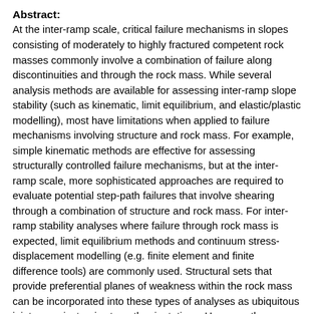Abstract:
At the inter-ramp scale, critical failure mechanisms in slopes consisting of moderately to highly fractured competent rock masses commonly involve a combination of failure along discontinuities and through the rock mass. While several analysis methods are available for assessing inter-ramp slope stability (such as kinematic, limit equilibrium, and elastic/plastic modelling), most have limitations when applied to failure mechanisms involving structure and rock mass. For example, simple kinematic methods are effective for assessing structurally controlled failure mechanisms, but at the inter-ramp scale, more sophisticated approaches are required to evaluate potential step-path failures that involve shearing through a combination of structure and rock mass. For inter-ramp stability analyses where failure through rock mass is expected, limit equilibrium methods and continuum stress-displacement modelling (e.g. finite element and finite difference tools) are commonly used. Structural sets that provide preferential planes of weakness within the rock mass can be incorporated into these types of analyses as ubiquitous joints or anisotropic strength orientations. However, these modelling techniques are not practical for evaluating variations in orientation, spacing, and persistence of several structural sets or for evaluating the impact of multiple structural sets in three dimensions. This paper presents alternative